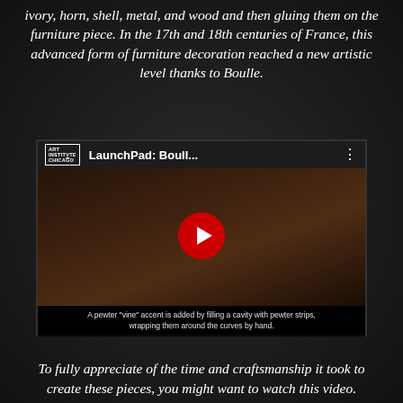ivory, horn, shell, metal, and wood and then gluing them on the furniture piece. In the 17th and 18th centuries of France, this advanced form of furniture decoration reached a new artistic level thanks to Boulle.
[Figure (screenshot): YouTube video thumbnail showing 'LaunchPad: Boull...' from Art Institute Chicago, with a red play button over a dark image of hands working on Boulle marquetry. Caption reads: A pewter "vine" accent is added by filling a cavity with pewter strips, wrapping them around the curves by hand.]
To fully appreciate of the time and craftsmanship it took to create these pieces, you might want to watch this video.